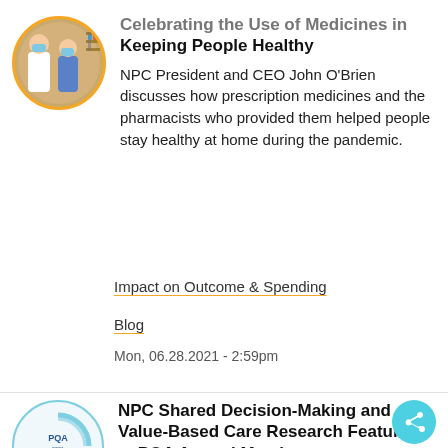Celebrating the Use of Medicines in Keeping People Healthy
NPC President and CEO John O'Brien discusses how prescription medicines and the pharmacists who provided them helped people stay healthy at home during the pandemic.
Impact on Outcome & Spending
Blog
Mon, 06.28.2021 - 2:59pm
NPC Shared Decision-Making and Value-Based Care Research Featured at PQA Annual Meeting
Research conducted by NPC and Discern Health found that shared decision-making and patient